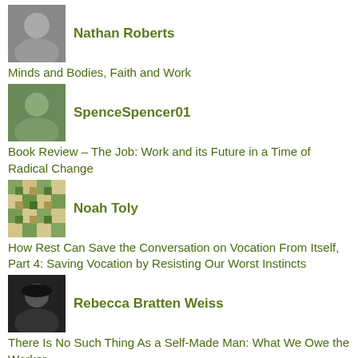Nathan Roberts
Minds and Bodies, Faith and Work
SpenceSpencer01
Book Review – The Job: Work and its Future in a Time of Radical Change
Noah Toly
How Rest Can Save the Conversation on Vocation From Itself, Part 4: Saving Vocation by Resisting Our Worst Instincts
Rebecca Bratten Weiss
There Is No Such Thing As a Self-Made Man: What We Owe the Worker
Chris Robertson
Book Review – Immanuel Labor: God's Presence In Our Profession
Big Tasty
The Workplace and Civility
William Messenger
Working for the Money